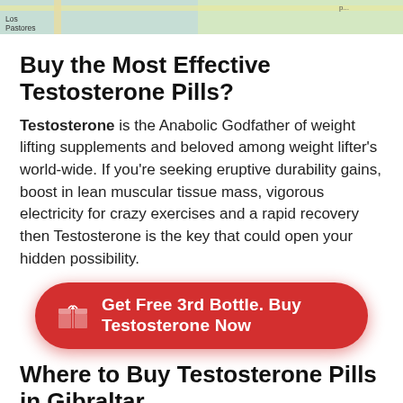[Figure (map): Partial map showing a location, with label 'Los Pastores' visible in the lower-left area]
Buy the Most Effective Testosterone Pills?
Testosterone is the Anabolic Godfather of weight lifting supplements and beloved among weight lifter's world-wide. If you're seeking eruptive durability gains, boost in lean muscular tissue mass, vigorous electricity for crazy exercises and a rapid recovery then Testosterone is the key that could open your hidden possibility.
[Figure (infographic): Red rounded rectangle button with gift icon and white bold text: Get Free 3rd Bottle. Buy Testosterone Now]
Where to Buy Testosterone Pills in Gibraltar
Where to Buy Testosterone in Gibraltar   The most effective